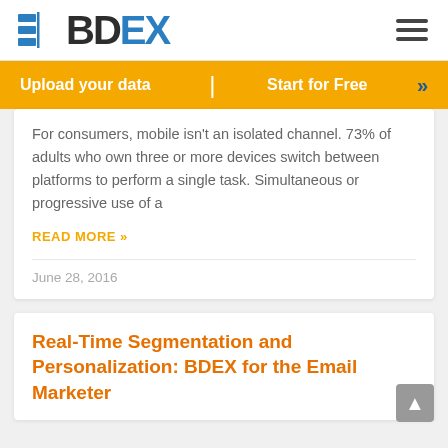[Figure (logo): BDEX logo with blue grid icon and dark bold text with blue X]
Upload your data | Start for Free »
For consumers, mobile isn't an isolated channel. 73% of adults who own three or more devices switch between platforms to perform a single task. Simultaneous or progressive use of a
READ MORE »
June 28, 2016
Real-Time Segmentation and Personalization: BDEX for the Email Marketer